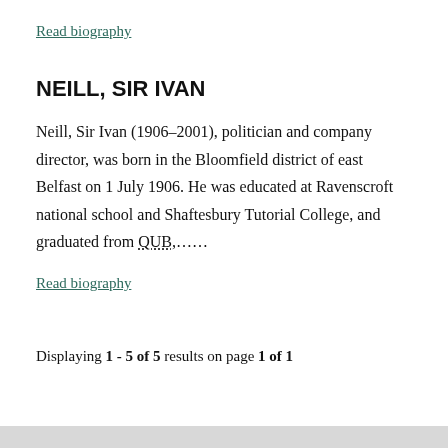Read biography
NEILL, SIR IVAN
Neill, Sir Ivan (1906–2001), politician and company director, was born in the Bloomfield district of east Belfast on 1 July 1906. He was educated at Ravenscroft national school and Shaftesbury Tutorial College, and graduated from QUB,…...
Read biography
Displaying 1 - 5 of 5 results on page 1 of 1